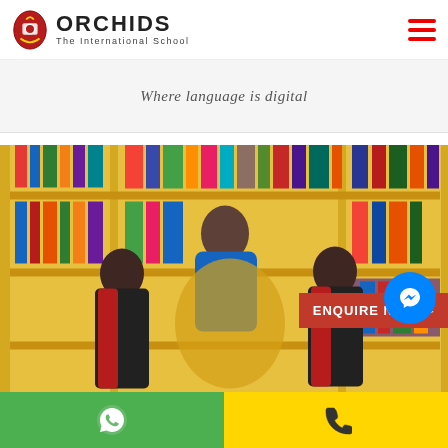ORCHIDS The International School
Where language is digital
[Figure (photo): A teacher with two school children in school uniforms in a library with yellow shelves filled with colorful books. An 'ENQUIRE NOW' red button overlay is visible in the bottom right corner.]
WhatsApp | Phone